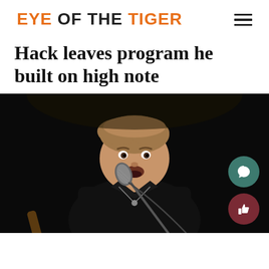EYE OF THE TIGER
Hack leaves program he built on high note
[Figure (photo): A middle-aged man with light brown hair singing into a microphone on a dark stage, wearing a black shirt, photographed against a black background.]